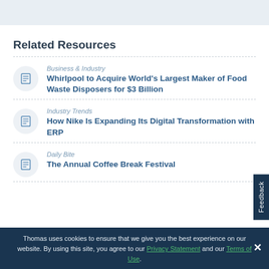Related Resources
Business & Industry — Whirlpool to Acquire World's Largest Maker of Food Waste Disposers for $3 Billion
Industry Trends — How Nike Is Expanding Its Digital Transformation with ERP
Daily Bite — The Annual Coffee Break Festival
Thomas uses cookies to ensure that we give you the best experience on our website. By using this site, you agree to our Privacy Statement and our Terms of Use.